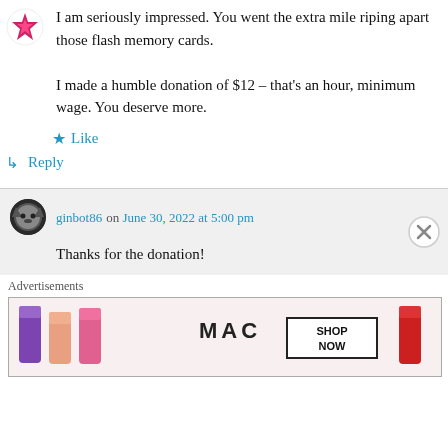[Figure (illustration): Pink/magenta star/snowflake avatar icon in top left]
I am seriously impressed. You went the extra mile riping apart those flash memory cards.

I made a humble donation of $12 – that's an hour, minimum wage. You deserve more.
★ Like
↪ Reply
ginbot86 on June 30, 2022 at 5:00 pm
Thanks for the donation!
Advertisements
[Figure (photo): MAC cosmetics advertisement banner showing lipsticks in purple, pink, coral, and red colors with MAC logo and SHOP NOW button]